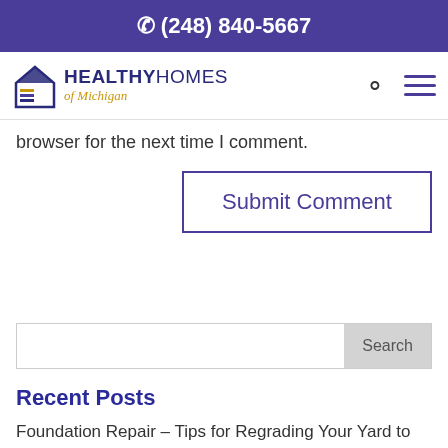(248) 840-5667
[Figure (logo): Healthy Homes of Michigan logo with house icon]
browser for the next time I comment.
Submit Comment
Search
Recent Posts
Foundation Repair – Tips for Regrading Your Yard to